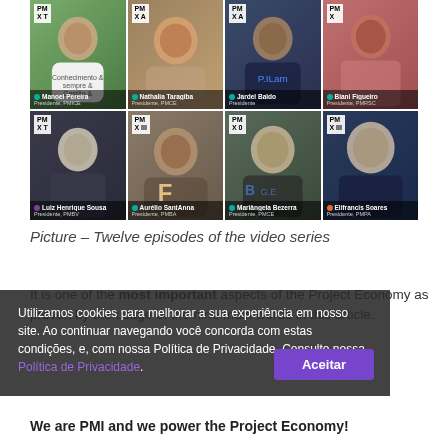[Figure (photo): A 2x4 grid of video call screenshots showing 8 people, each with a PMI logo badge in the corner and a name bar at the bottom identifying their name and role as president of various PMI chapters.]
Picture – Twelve episodes of the video series
It is one of the most important aspects of the Project Economy as proven by the usage of the nine main words in this article.
Utilizamos cookies para melhorar a sua experiência em nosso site. Ao continuar navegando você concorda com estas condições, e, com nossa Política de Privacidade. Consulte nossa Política de Privacidade.
We are PMI and we power the Project Economy!